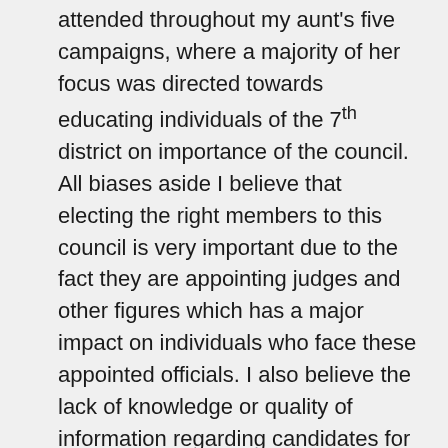attended throughout my aunt's five campaigns, where a majority of her focus was directed towards educating individuals of the 7th district on importance of the council. All biases aside I believe that electing the right members to this council is very important due to the fact they are appointing judges and other figures which has a major impact on individuals who face these appointed officials. I also believe the lack of knowledge or quality of information regarding candidates for numerous positions across the country is heavily skewed. Of course there are U.S. citizens who are properly informed, however I believe that more often than not individuals are not properly informed.